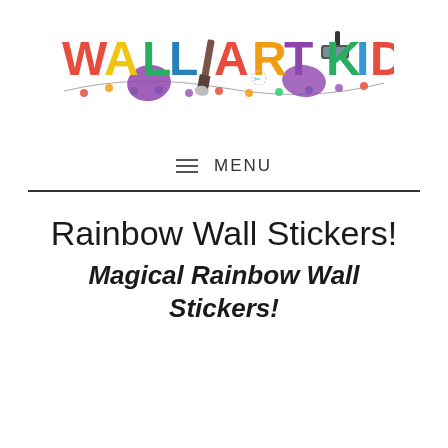[Figure (logo): WallArtKids colorful logo with paint brush, roller, and decorative lights]
≡  MENU
Rainbow Wall Stickers!
Magical Rainbow Wall Stickers!